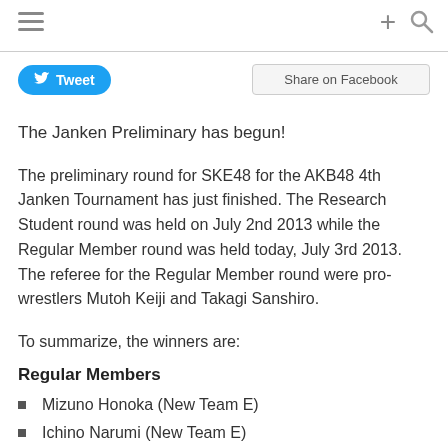☰ + 🔍
Tweet   Share on Facebook
The Janken Preliminary has begun!
The preliminary round for SKE48 for the AKB48 4th Janken Tournament has just finished. The Research Student round was held on July 2nd 2013 while the Regular Member round was held today, July 3rd 2013. The referee for the Regular Member round were pro-wrestlers Mutoh Keiji and Takagi Sanshiro.
To summarize, the winners are:
Regular Members
Mizuno Honoka (New Team E)
Ichino Narumi (New Team E)